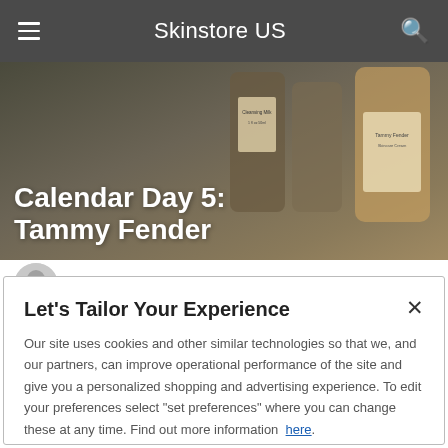Skinstore US
[Figure (photo): Hero banner photo showing skincare product bottles with labels, dark background. Title overlay reads 'Calendar Day 5: Tammy Fender']
Calendar Day 5: Tammy Fender
barettom
Share this page
Let's Tailor Your Experience
Our site uses cookies and other similar technologies so that we, and our partners, can improve operational performance of the site and give you a personalized shopping and advertising experience. To edit your preferences select "set preferences" where you can change these at any time. Find out more information here.
Set Preference
That's Ok